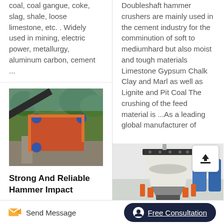coal, coal gangue, coke, slag, shale, loose limestone, etc. . Widely used in mining, electric power, metallurgy, aluminum carbon, cement ...
[Figure (photo): Industrial hammer impact crusher machine with orange/red structure and conveyor belts, outdoor setting with green trees in background]
Strong And Reliable Hammer Impact
Doubleshaft hammer crushers are mainly used in the cement industry for the comminution of soft to mediumhard but also moist and tough materials Limestone Gypsum Chalk Clay and Marl as well as Lignite and Pit Coal The crushing of the feed material is ...As a leading global manufacturer of
[Figure (photo): Industrial cone crusher machine in a factory/warehouse setting, white/gray conical crusher visible with blue tanks in background]
Send Message
Free Consultation